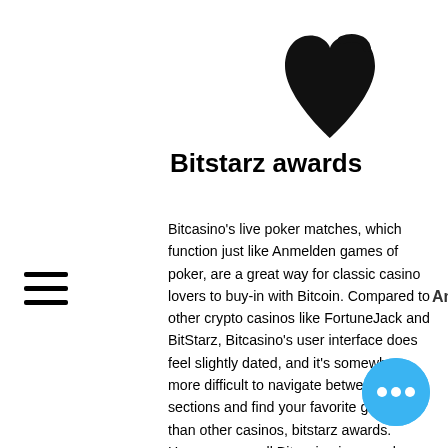[Figure (logo): Black heart-shaped logo icon in upper center area]
Bitstarz awards
[Figure (other): Hamburger menu icon (three horizontal lines) on the left side]
[Figure (other): Shopping bag icon with '0' counter and 'Anmelden' label overlay]
Bitcasino's live poker matches, which function just like Anmelden games of poker, are a great way for classic casino lovers to buy-in with Bitcoin. Compared to other crypto casinos like FortuneJack and BitStarz, Bitcasino's user interface does feel slightly dated, and it's somewhat more difficult to navigate between the sections and find your favorite games than other casinos, bitstarz awards. However, overall Bitcasino is a good crypto casino for those who want access to a decent amount of games and perhaps aren't as interested in a huge range of slots games. Roll and ball is a straight-forward game that contains two types of versions, bitstarz awards.
He is a strong advocate of the Altcoins and
[Figure (other): Blue circular chat button with three white dots at bottom right]